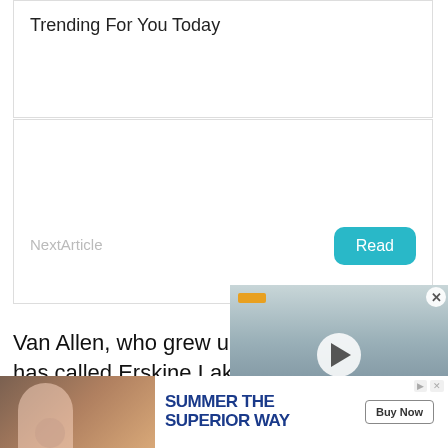Trending For You Today
NextArticle
Read
Van Allen, who grew up in Franklin Lakes and for years has called Erskine Lakes home, spent his high school and college years working at the Market Basket in Franklin Lakes – catering and food service o
FEATURED VIDEOS
[Figure (screenshot): Video popup overlay showing a person (Joe Disuhu, PropertyGuru Group Expo) with play button, orange bar, and ticker reading PROPERTYGURU 2Q REVENUE RISES 44%]
[Figure (photo): Advertisement banner: image of person at table with drinks on left, text SUMMER THE SUPERIOR WAY with Buy Now button on right, on dark olive background]